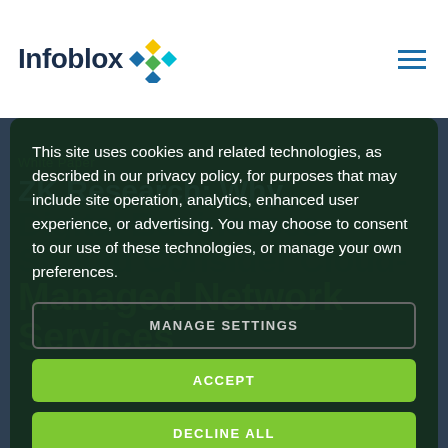Infoblox
White Paper
ZK Research: Why Digital Businesses Should Consider Cloud-Managed Network Services
This site uses cookies and related technologies, as described in our privacy policy, for purposes that may include site operation, analytics, enhanced user experience, or advertising. You may choose to consent to our use of these technologies, or manage your own preferences.
MANAGE SETTINGS
ACCEPT
DECLINE ALL